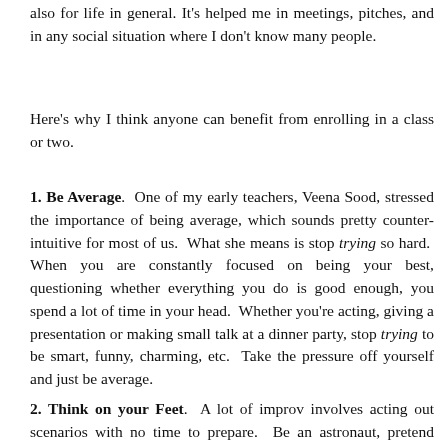also for life in general. It's helped me in meetings, pitches, and in any social situation where I don't know many people.
Here's why I think anyone can benefit from enrolling in a class or two.
1. Be Average. One of my early teachers, Veena Sood, stressed the importance of being average, which sounds pretty counter-intuitive for most of us. What she means is stop trying so hard. When you are constantly focused on being your best, questioning whether everything you do is good enough, you spend a lot of time in your head. Whether you're acting, giving a presentation or making small talk at a dinner party, stop trying to be smart, funny, charming, etc. Take the pressure off yourself and just be average.
2. Think on your Feet. A lot of improv involves acting out scenarios with no time to prepare. Be an astronaut, pretend you're looking for buried treasure, perform brain